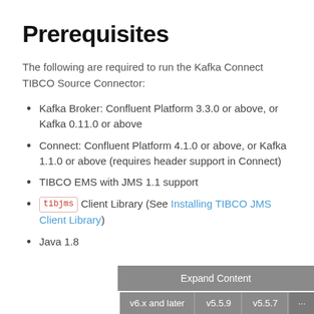Prerequisites
The following are required to run the Kafka Connect TIBCO Source Connector:
Kafka Broker: Confluent Platform 3.3.0 or above, or Kafka 0.11.0 or above
Connect: Confluent Platform 4.1.0 or above, or Kafka 1.1.0 or above (requires header support in Connect)
TIBCO EMS with JMS 1.1 support
tibjms Client Library (See Installing TIBCO JMS Client Library)
Java 1.8